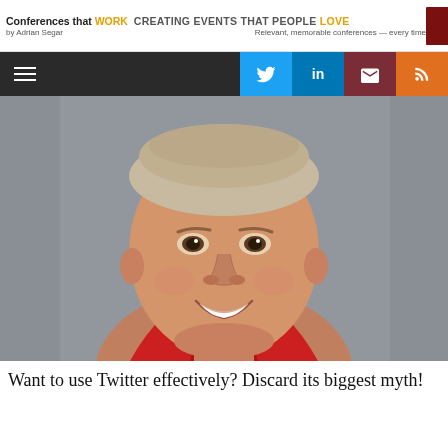Conferences that WORK — CREATING EVENTS THAT PEOPLE LOVE | by Adrian Segar | Relevant, memorable conferences — every time
[Figure (screenshot): Navigation bar with hamburger menu icon on left, and social media icons (Twitter, LinkedIn, Email, RSS) on right]
[Figure (photo): Close-up photo of a young man with short hair, smiling, wearing a red top, against a grey background]
Want to use Twitter effectively? Discard its biggest myth!